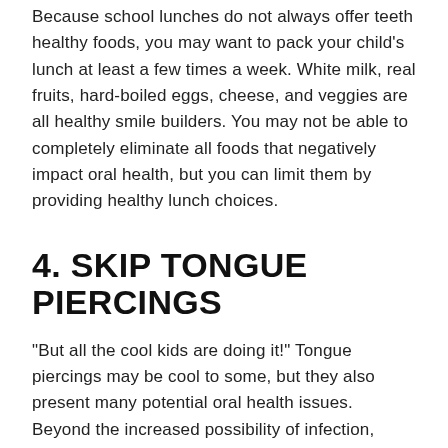Because school lunches do not always offer teeth healthy foods, you may want to pack your child's lunch at least a few times a week. White milk, real fruits, hard-boiled eggs, cheese, and veggies are all healthy smile builders. You may not be able to completely eliminate all foods that negatively impact oral health, but you can limit them by providing healthy lunch choices.
4. SKIP TONGUE PIERCINGS
"But all the cool kids are doing it!" Tongue piercings may be cool to some, but they also present many potential oral health issues. Beyond the increased possibility of infection, chipped teeth can happen while chewing, talking, and even sleeping.  Unless you want to spend money on your child's tooth repair, skip the oral piercings.